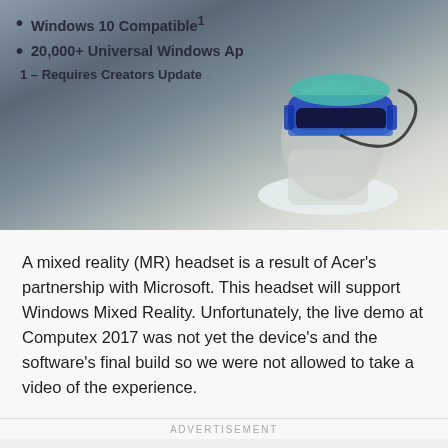[Figure (photo): A mixed reality VR headset (blue and black) displayed on a mannequin head on a lit white surface, with a dark grey/blue background showing bullet point text about Windows 10 compatibility and Universal Windows Apps.]
Windows 10 Compatible¹
20,000+ Universal Windows Ap...
1 – Requires Creators Update...
A mixed reality (MR) headset is a result of Acer's partnership with Microsoft. This headset will support Windows Mixed Reality. Unfortunately, the live demo at Computex 2017 was not yet the device's and the software's final build so we were not allowed to take a video of the experience.
ADVERTISEMENT